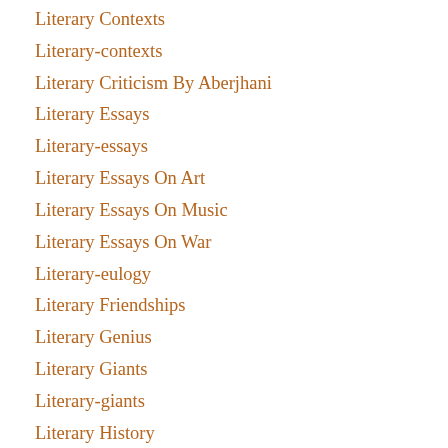Literary Contexts
Literary-contexts
Literary Criticism By Aberjhani
Literary Essays
Literary-essays
Literary Essays On Art
Literary Essays On Music
Literary Essays On War
Literary-eulogy
Literary Friendships
Literary Genius
Literary Giants
Literary-giants
Literary History
Literaryhistoryea14e715c4
Literary History Of Savannahgeorgia
Literary History Of Savannah Georgia
Literary Icons
Literary Influencers
Literary Journals
Literary Legacies
Literary-living